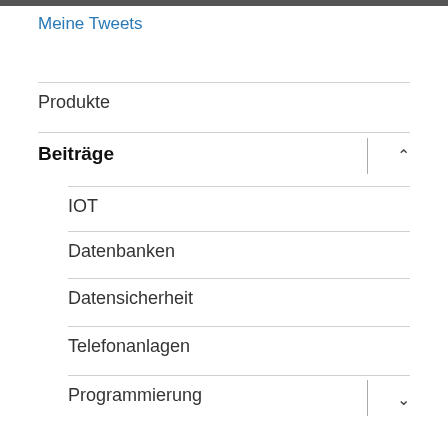Meine Tweets
Produkte
Beiträge
IOT
Datenbanken
Datensicherheit
Telefonanlagen
Programmierung